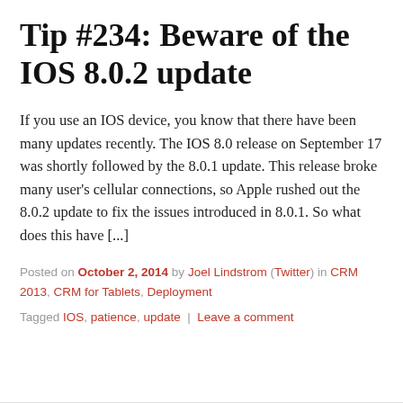Tip #234: Beware of the IOS 8.0.2 update
If you use an IOS device, you know that there have been many updates recently. The IOS 8.0 release on September 17 was shortly followed by the 8.0.1 update. This release broke many user’s cellular connections, so Apple rushed out the 8.0.2 update to fix the issues introduced in 8.0.1. So what does this have [...]
Posted on October 2, 2014 by Joel Lindstrom (Twitter) in CRM 2013, CRM for Tablets, Deployment
Tagged IOS, patience, update | Leave a comment